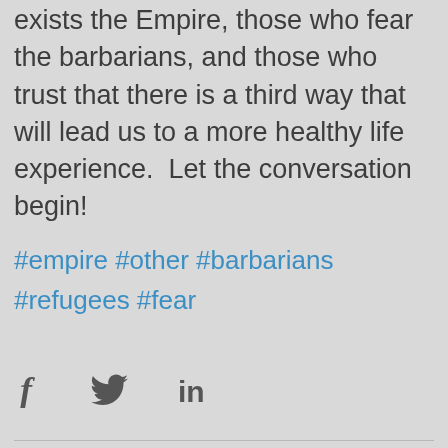exists the Empire, those who fear the barbarians, and those who trust that there is a third way that will lead us to a more healthy life experience.  Let the conversation begin!
#empire #other #barbarians #refugees #fear
[Figure (illustration): Social share icons: Facebook (f), Twitter (bird), LinkedIn (in)]
[Figure (illustration): Heart (like) icon in red/coral outline]
Featured Posts
[Figure (logo): Community logo: dark blue silhouette cityscape with orange horizontal bar and text COMMUNITY in white; chat bubble icon overlay bottom right]